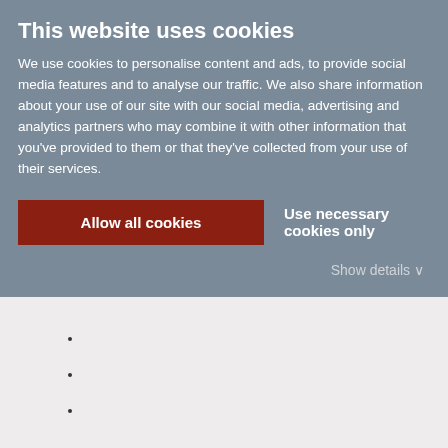This website uses cookies
We use cookies to personalise content and ads, to provide social media features and to analyse our traffic. We also share information about your use of our site with our social media, advertising and analytics partners who may combine it with other information that you've provided to them or that they've collected from your use of their services.
Allow all cookies
Use necessary cookies only
Show details